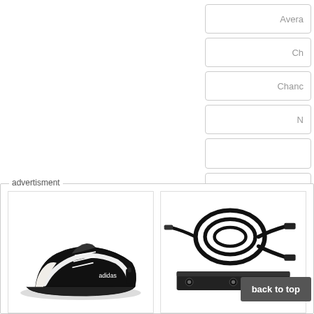Avera
Ch
Chanc
N
advertisment
[Figure (photo): Black and white athletic shoe with laces]
[Figure (photo): Black cables and mounting bracket hardware]
back to top